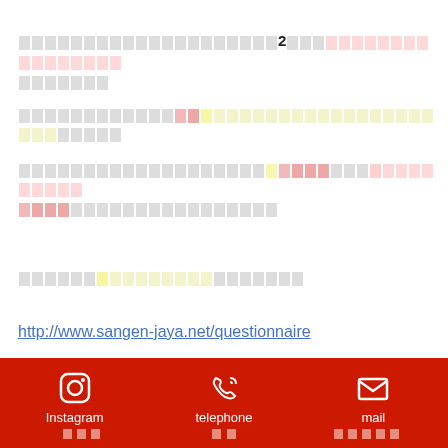Japanese text paragraph 1 with highlighted sections and bold '2'
Japanese text paragraph 2 with highlighted section
Japanese text paragraph 3 with highlighted sections
Japanese text paragraph 4 with yellow highlight
http://www.sangen-jaya.net/questionnaire
Japanese text paragraph 5
Instagram | telephone | mail